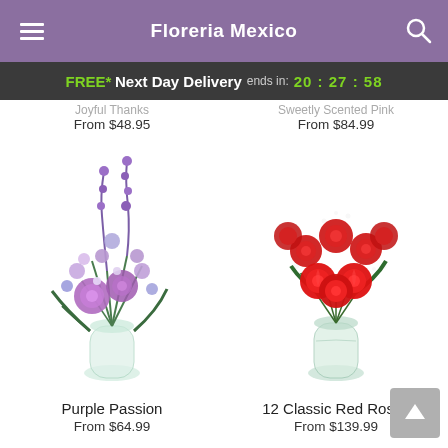Floreria Mexico
FREE* Next Day Delivery ends in: 20:27:58
From $48.95
From $84.99
[Figure (photo): Purple Passion flower arrangement in a glass vase with purple larkspur, lavender roses, and purple lisianthus]
[Figure (photo): 12 Classic Red Roses arrangement in a glass vase with baby's breath and green foliage]
Purple Passion
From $64.99
12 Classic Red Roses
From $139.99